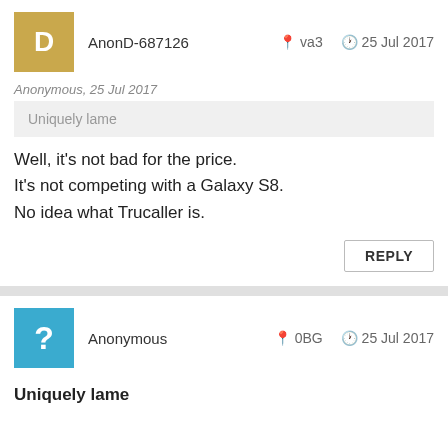AnonD-687126   va3   25 Jul 2017
Anonymous, 25 Jul 2017
Uniquely lame
Well, it's not bad for the price.
It's not competing with a Galaxy S8.
No idea what Trucaller is.
REPLY
Anonymous   0BG   25 Jul 2017
Uniquely lame
REPLY